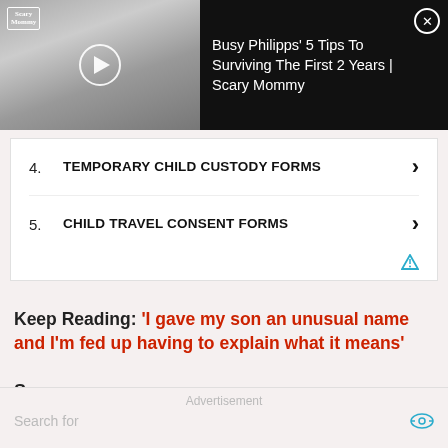[Figure (screenshot): Video thumbnail from Scary Mommy showing a blonde woman, with play button overlay and Scary Mommy logo in top-left corner]
Busy Philipps' 5 Tips To Surviving The First 2 Years | Scary Mommy
4. TEMPORARY CHILD CUSTODY FORMS
5. CHILD TRAVEL CONSENT FORMS
Keep Reading: ‘I gave my son an unusual name and I’m fed up having to explain what it means’
Sources
Advertisement
Search for